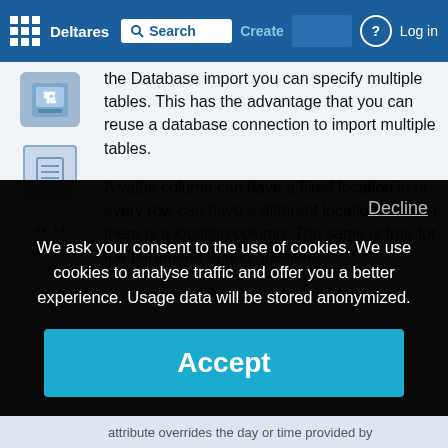Deltares | Search | Create | Log in
the Database import you can specify multiple tables. This has the advantage that you can reuse a database connection to import multiple tables.
A value column can have a fixed location id or every row can have a different location id when there is a location column. The same is true for the parameter id and qualifiers.
We ask your consent to the use of cookies. We use cookies to analyse traffic and offer you a better experience. Usage data will be stored anonymized.
Decline
Accept
Privacy Statement
attribute overrides the day or time provided by